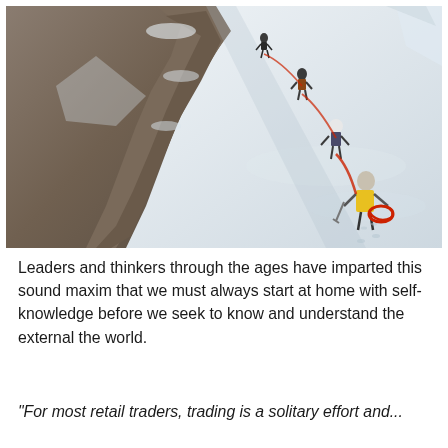[Figure (photo): Mountain climbers ascending a steep snow-covered ridge. Rocky outcrop on the left, blue sky above. Three or four climbers roped together heading uphill, the closest wearing a yellow jacket and carrying a red rope.]
Leaders and thinkers through the ages have imparted this sound maxim that we must always start at home with self-knowledge before we seek to know and understand the external the world.
"For most retail traders, trading is a solitary effort and...